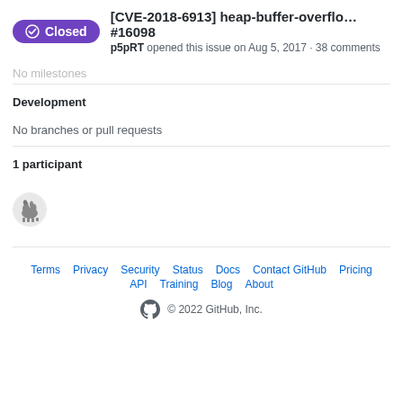[CVE-2018-6913] heap-buffer-overlo... #16098 — p5pRT opened this issue on Aug 5, 2017 · 38 comments
No milestones
Development
No branches or pull requests
1 participant
[Figure (photo): Participant avatar showing a camel illustration]
Terms  Privacy  Security  Status  Docs  Contact GitHub  Pricing  API  Training  Blog  About  © 2022 GitHub, Inc.